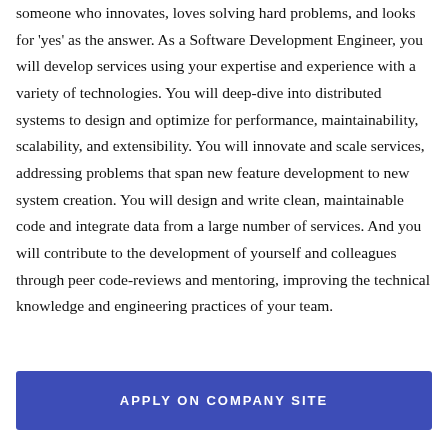someone who innovates, loves solving hard problems, and looks for 'yes' as the answer. As a Software Development Engineer, you will develop services using your expertise and experience with a variety of technologies. You will deep-dive into distributed systems to design and optimize for performance, maintainability, scalability, and extensibility. You will innovate and scale services, addressing problems that span new feature development to new system creation. You will design and write clean, maintainable code and integrate data from a large number of services. And you will contribute to the development of yourself and colleagues through peer code-reviews and mentoring, improving the technical knowledge and engineering practices of your team.
APPLY ON COMPANY SITE